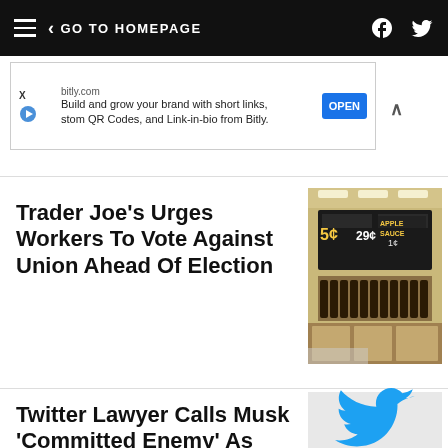GO TO HOMEPAGE
[Figure (screenshot): Ad banner from bitly.com: Build and grow your brand with short links, custom QR Codes, and Link-in-bio from Bitly. OPEN button shown.]
Trader Joe’s Urges Workers To Vote Against Union Ahead Of Election
[Figure (photo): Interior of Trader Joe’s store showing signs and product displays including Apple Sauce sign and bottles]
Twitter Lawyer Calls Musk 'Committed Enemy' As Judge Sets October Trial
[Figure (logo): Twitter bird logo in blue on light gray background]